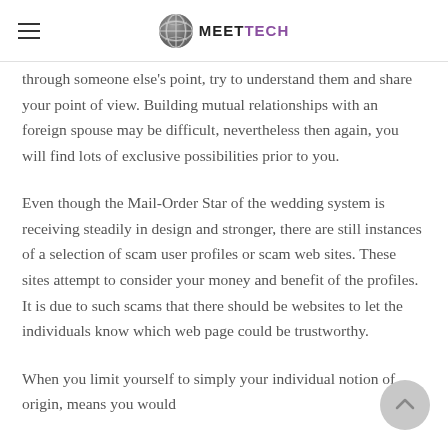MEETTECH
through someone else's point, try to understand them and share your point of view. Building mutual relationships with an foreign spouse may be difficult, nevertheless then again, you will find lots of exclusive possibilities prior to you.
Even though the Mail-Order Star of the wedding system is receiving steadily in design and stronger, there are still instances of a selection of scam user profiles or scam web sites. These sites attempt to consider your money and benefit of the profiles. It is due to such scams that there should be websites to let the individuals know which web page could be trustworthy.
When you limit yourself to simply your individual notion of origin, means you would